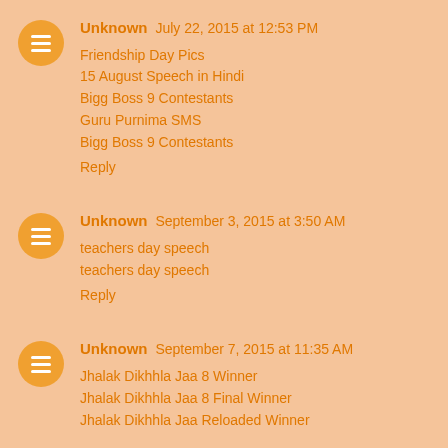Unknown July 22, 2015 at 12:53 PM
Friendship Day Pics
15 August Speech in Hindi
Bigg Boss 9 Contestants
Guru Purnima SMS
Bigg Boss 9 Contestants
Reply
Unknown September 3, 2015 at 3:50 AM
teachers day speech
teachers day speech
Reply
Unknown September 7, 2015 at 11:35 AM
Jhalak Dikhhla Jaa 8 Winner
Jhalak Dikhhla Jaa 8 Final Winner
Jhalak Dikhhla Jaa Reloaded Winner